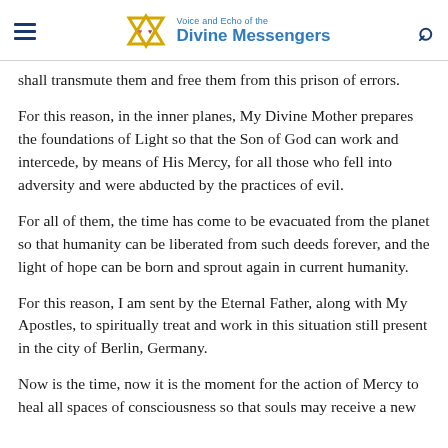Voice and Echo of the Divine Messengers
All those who, before and during the war, were soldiers of evil, shall transmute them and free them from this prison of errors.
For this reason, in the inner planes, My Divine Mother prepares the foundations of Light so that the Son of God can work and intercede, by means of His Mercy, for all those who fell into adversity and were abducted by the practices of evil.
For all of them, the time has come to be evacuated from the planet so that humanity can be liberated from such deeds forever, and the light of hope can be born and sprout again in current humanity.
For this reason, I am sent by the Eternal Father, along with My Apostles, to spiritually treat and work in this situation still present in the city of Berlin, Germany.
Now is the time, now it is the moment for the action of Mercy to heal all spaces of consciousness so that souls may receive a new